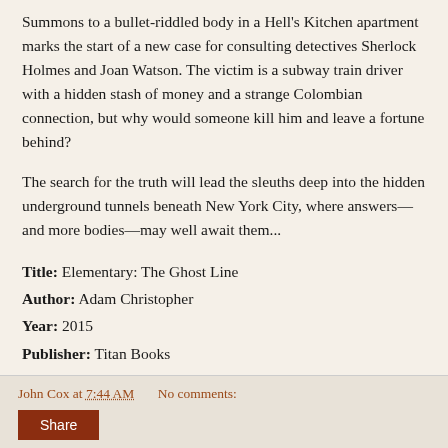Summons to a bullet-riddled body in a Hell's Kitchen apartment marks the start of a new case for consulting detectives Sherlock Holmes and Joan Watson. The victim is a subway train driver with a hidden stash of money and a strange Colombian connection, but why would someone kill him and leave a fortune behind?
The search for the truth will lead the sleuths deep into the hidden underground tunnels beneath New York City, where answers—and more bodies—may well await them...
Title: Elementary: The Ghost Line
Author: Adam Christopher
Year: 2015
Publisher: Titan Books
Purchase: Amazon.
John Cox at 7:44 AM   No comments:   Share